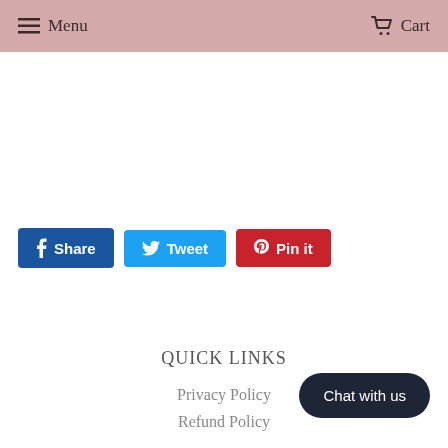Menu   Cart
[Figure (other): Social share buttons: Share (Facebook, blue), Tweet (Twitter, light blue), Pin it (Pinterest, red)]
QUICK LINKS
Privacy Policy
Refund Policy
Chat with us